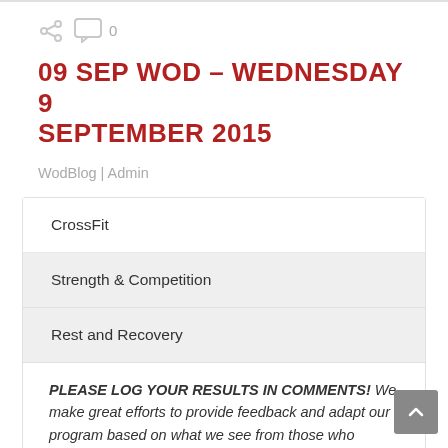09 SEP WOD – WEDNESDAY 9 SEPTEMBER 2015
WodBlog | Admin
CrossFit
Strength & Competition
Rest and Recovery
PLEASE LOG YOUR RESULTS IN COMMENTS! We make great efforts to provide feedback and adapt our program based on what we see from those who provide results. To ensure that we are able to do the best we can for you, please log your results!
WOD: